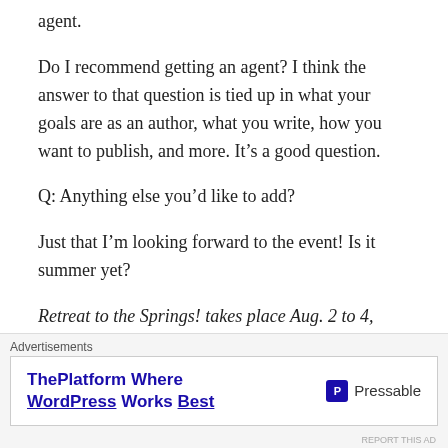agent.
Do I recommend getting an agent? I think the answer to that question is tied up in what your goals are as an author, what you write, how you want to publish, and more. It’s a good question.
Q: Anything else you’d like to add?
Just that I’m looking forward to the event! Is it summer yet?
Retreat to the Springs! takes place Aug. 2 to 4, 2019, in Yellow Springs, Ohio. Besides Maddie James, we will also have Tim Waggoner and Jeffrey Marks on faculty. For
Advertisements
[Figure (other): Pressable advertisement banner: ThePlatform Where WordPress Works Best]